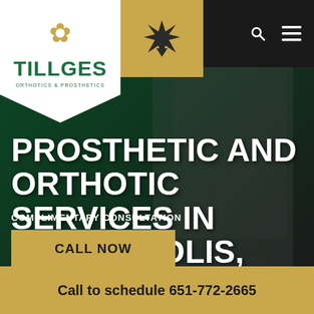[Figure (screenshot): Tillges Orthotics & Prosthetics website hero section screenshot with dark green tinted background showing a person using prosthetics, navigation bar with search and menu icons, company logo, and call to action button.]
PROSTHETIC AND ORTHOTIC SERVICES IN MINNEAPOLIS, MN
COMPLIMENTARY CONSULTATION
CALL NOW
Call to schedule 651-772-2665